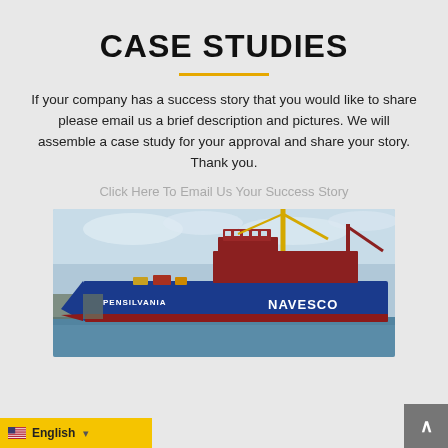CASE STUDIES
If your company has a success story that you would like to share please email us a brief description and pictures. We will assemble a case study for your approval and share your story. Thank you.
Click Here To Email Us Your Success Story
[Figure (photo): A large blue cargo/freight ship named PENSILVANIA with NAVESCO branding, docked at a port with cranes and equipment visible.]
English